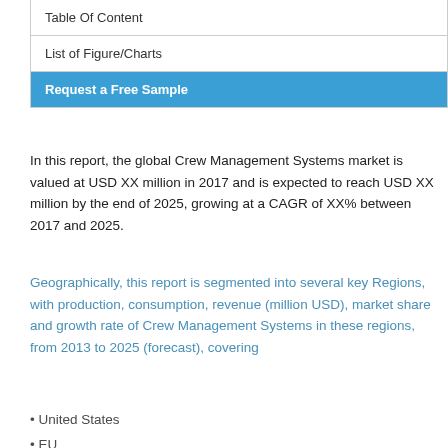Table Of Content
List of Figure/Charts
Request a Free Sample
In this report, the global Crew Management Systems market is valued at USD XX million in 2017 and is expected to reach USD XX million by the end of 2025, growing at a CAGR of XX% between 2017 and 2025.
Geographically, this report is segmented into several key Regions, with production, consumption, revenue (million USD), market share and growth rate of Crew Management Systems in these regions, from 2013 to 2025 (forecast), covering
United States
EU